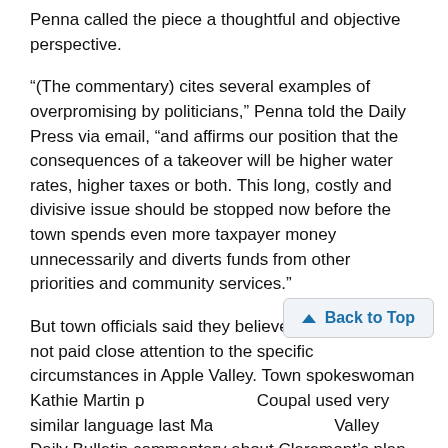Penna called the piece a thoughtful and objective perspective.
"(The commentary) cites several examples of overpromising by politicians," Penna told the Daily Press via email, "and affirms our position that the consequences of a takeover will be higher water rates, higher taxes or both. This long, costly and divisive issue should be stopped now before the town spends even more taxpayer money unnecessarily and diverts funds from other priorities and community services."
But town officials said they believe that Coupal has not paid close attention to the specific circumstances in Apple Valley. Town spokeswoman Kathie Martin pointed out that Coupal used very similar language last March in an Inland Valley Daily Bulletin commentary about Claremont's plan to acquire the Golden State Water Company's water system.